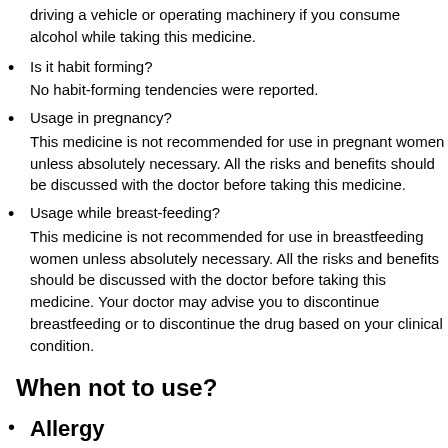driving a vehicle or operating machinery if you consume alcohol while taking this medicine.
Is it habit forming?
No habit-forming tendencies were reported.
Usage in pregnancy?
This medicine is not recommended for use in pregnant women unless absolutely necessary. All the risks and benefits should be discussed with the doctor before taking this medicine.
Usage while breast-feeding?
This medicine is not recommended for use in breastfeeding women unless absolutely necessary. All the risks and benefits should be discussed with the doctor before taking this medicine. Your doctor may advise you to discontinue breastfeeding or to discontinue the drug based on your clinical condition.
When not to use?
Allergy
This medicine is not recommended for use in patients with a known allergy to OBSONERV 200mg Tablet 30s , or any other inactive ingredients present in the formulation.